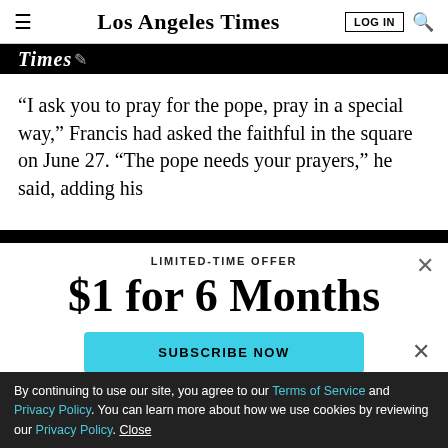Los Angeles Times | LOG IN
[Figure (screenshot): Black banner with Los Angeles Times logo text in white italic]
“I ask you to pray for the pope, pray in a special way,” Francis had asked the faithful in the square on June 27. “The pope needs your prayers,” he said, adding his
LIMITED-TIME OFFER
$1 for 6 Months
SUBSCRIBE NOW
By continuing to use our site, you agree to our Terms of Service and Privacy Policy. You can learn more about how we use cookies by reviewing our Privacy Policy. Close